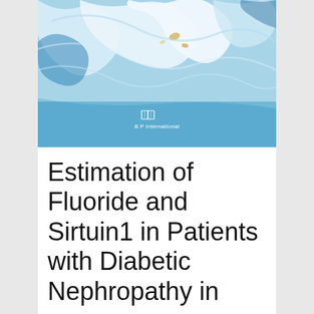[Figure (illustration): Abstract fluid art cover image with swirling blue, white, and gold tones, resembling marble or paint poured on a surface. The lower portion transitions to a solid sky blue. B P International publisher logo and name appear at the bottom center of the image area.]
Estimation of Fluoride and Sirtuin1 in Patients with Diabetic Nephropathy in